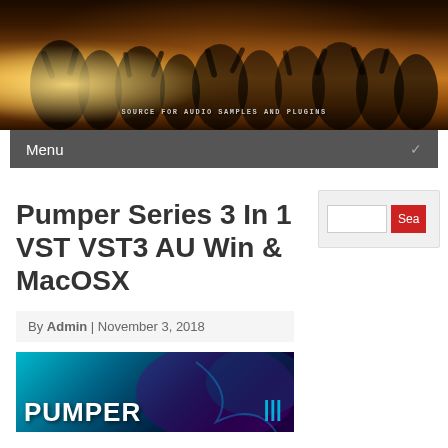[Figure (photo): Concert crowd silhouette banner with warm orange/golden light. Text reads: SOURCE FOR AUDIO SAMPLES AND PLUGINS]
Menu
Pumper Series 3 In 1 VST VST3 AU Win & MacOSX
By Admin | November 3, 2018
[Figure (screenshot): Pumper plugin promotional image with teal/dark background showing PUMPER logo text]